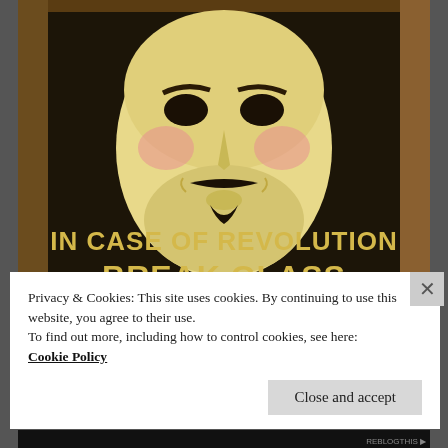[Figure (photo): A Guy Fawkes (Anonymous) mask displayed behind glass or in a frame, with text overlay reading 'IN CASE OF REVOLUTION BREAK GLASS'. The mask is cream/yellowish with rosy cheeks and a black painted mustache and goatee. Dark wooden background.]
Privacy & Cookies: This site uses cookies. By continuing to use this website, you agree to their use.
To find out more, including how to control cookies, see here:
Cookie Policy
Close and accept